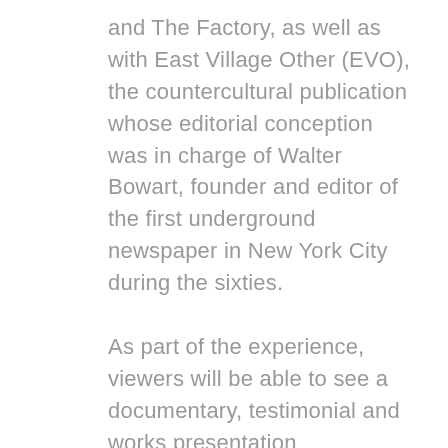and The Factory, as well as with East Village Other (EVO), the countercultural publication whose editorial conception was in charge of Walter Bowart, founder and editor of the first underground newspaper in New York City during the sixties. As part of the experience, viewers will be able to see a documentary, testimonial and works presentation corresponding to the period that the curatorial exploration (1960-1979) by Andreina Fuentes-Angarita addresses. The exhibition will be open from December 5 to 9, 2018.